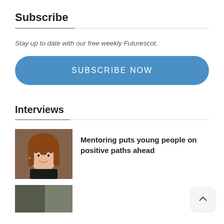Subscribe
Stay up to date with our free weekly Futurescot.
SUBSCRIBE NOW
Interviews
[Figure (photo): Headshot of a smiling woman with long brown hair wearing a dark top, photographed against a brick background.]
Mentoring puts young people on positive paths ahead
[Figure (photo): A second article thumbnail image, partially visible at the bottom of the page.]